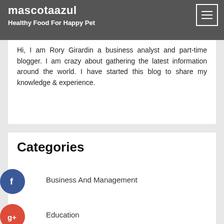mascotaazul | Healthy Food For Happy Pet
Hi, I am Rory Girardin a business analyst and part-time blogger. I am crazy about gathering the latest information around the world. I have started this blog to share my knowledge & experience.
Categories
Business And Management
Education
Health and Fitness
Home and Garden
Legal
Marketing and Advertising